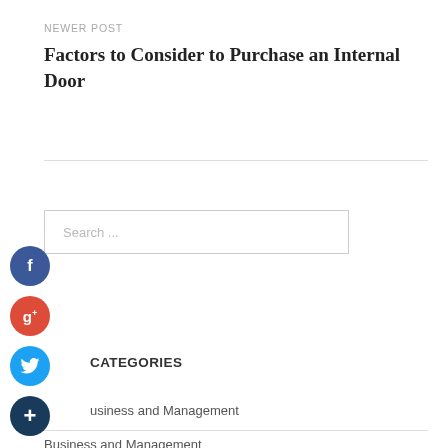NEWER POST
Factors to Consider to Purchase an Internal Door
Search ...
[Figure (infographic): Social media share buttons: Facebook (blue circle with 'f'), Google+ (red circle with 'g+'), Twitter (blue circle with bird icon), and a dark blue circle with '+' sign.]
CATEGORIES
Business and Management
Business and Management